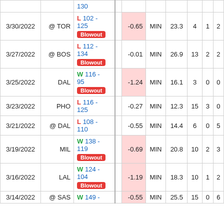| Date | Opp | Result |  | Diff | MIN | 23.3 | 4 | 1 | 2 |
| --- | --- | --- | --- | --- | --- | --- | --- | --- | --- |
| 3/30/2022 | @ TOR | L 102 - 125 [Blowout] |  | -0.65 | MIN | 23.3 | 4 | 1 | 2 |
| 3/27/2022 | @ BOS | L 112 - 134 [Blowout] |  | -0.01 | MIN | 26.9 | 13 | 2 | 2 |
| 3/25/2022 | DAL | W 116 - 95 [Blowout] |  | -1.24 | MIN | 16.1 | 3 | 0 | 0 |
| 3/23/2022 | PHO | L 116 - 125 |  | -0.27 | MIN | 12.3 | 15 | 3 | 0 |
| 3/21/2022 | @ DAL | L 108 - 110 |  | -0.55 | MIN | 14.4 | 6 | 0 | 5 |
| 3/19/2022 | MIL | W 138 - 119 [Blowout] |  | -0.69 | MIN | 20.8 | 10 | 2 | 3 |
| 3/16/2022 | LAL | W 124 - 104 [Blowout] |  | -1.19 | MIN | 18.3 | 10 | 1 | 2 |
| 3/14/2022 | @ SAS | W 149 - ... |  | -0.55 | MIN | 25.5 | 15 | 0 | 6 |